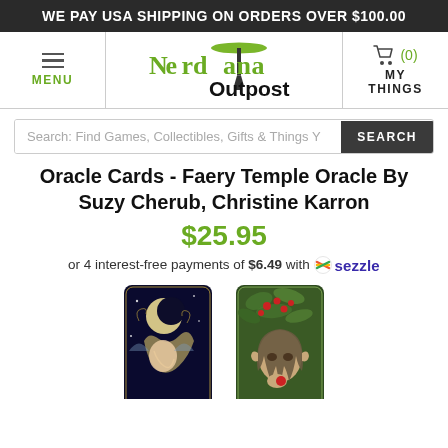WE PAY USA SHIPPING ON ORDERS OVER $100.00
[Figure (logo): Nerdvana Outpost logo with space needle icon]
Search: Find Games, Collectibles, Gifts & Things Y
Oracle Cards - Faery Temple Oracle By Suzy Cherub, Christine Karron
$25.95
or 4 interest-free payments of $6.49 with Sezzle
[Figure (photo): Two oracle cards shown: left card with moon goddess fairy illustration on dark background, right card with fairy child with pointed ears surrounded by berries and foliage]